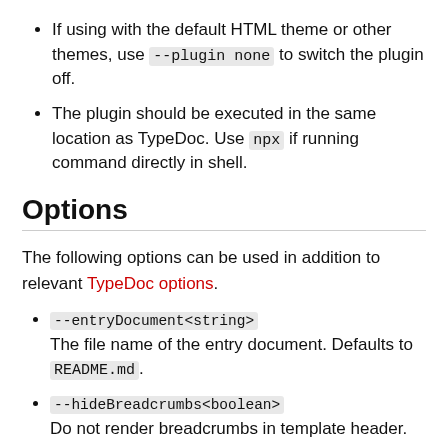If using with the default HTML theme or other themes, use --plugin none to switch the plugin off.
The plugin should be executed in the same location as TypeDoc. Use npx if running command directly in shell.
Options
The following options can be used in addition to relevant TypeDoc options.
--entryDocument<string>
The file name of the entry document. Defaults to README.md.
--hideBreadcrumbs<boolean>
Do not render breadcrumbs in template header.